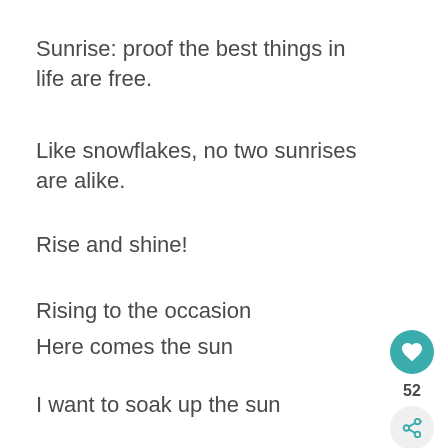Sunrise: proof the best things in life are free.
Like snowflakes, no two sunrises are alike.
Rise and shine!
Rising to the occasion
Here comes the sun
I want to soak up the sun